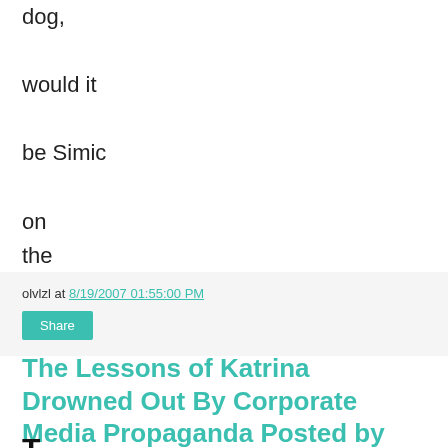dog,

would it

be Simic

on
the

radio now?
olvlzl at 8/19/2007 01:55:00 PM
Share
The Lessons of Katrina Drowned Out By Corporate Media Propaganda Posted by olvlzl.
The Boston Globe had an interesting...